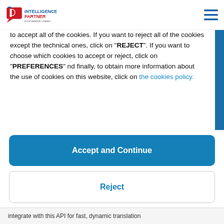[Figure (logo): Intelligence Partner – A SoftwareONE Company logo with red arrow/speech-bubble and blue/red text]
to accept all of the cookies. If you want to reject all of the cookies except the technical ones, click on "REJECT". If you want to choose which cookies to accept or reject, click on "PREFERENCES" nd finally, to obtain more information about the use of cookies on this website, click on the cookies policy.
Accept and Continue
Reject
Preferences
integrate with this API for fast, dynamic translation